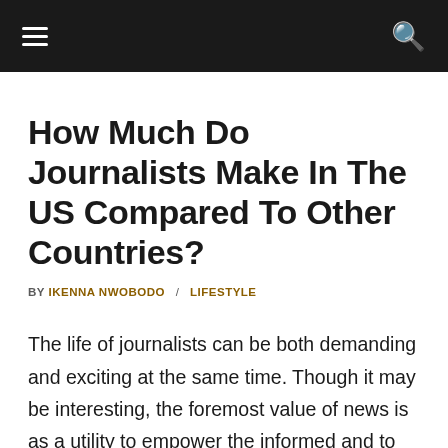≡  🔍
How Much Do Journalists Make In The US Compared To Other Countries?
BY IKENNA NWOBODO / LIFESTYLE
The life of journalists can be both demanding and exciting at the same time. Though it may be interesting, the foremost value of news is as a utility to empower the informed and to provide people with the right information needed to make the right decisions about their lives, businesses,